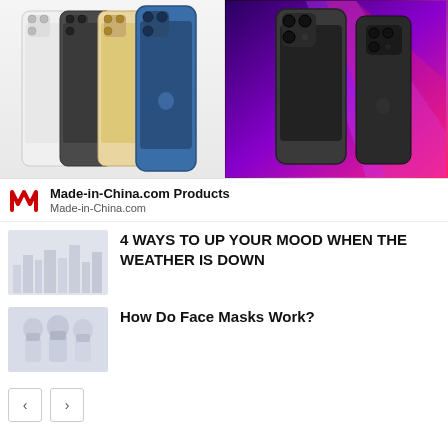[Figure (photo): Two iPhone product images side by side: left shows iPhone 12 Pro in multiple colors (white, graphite, gold, blue) from the back, right shows iPhone 13 Pro against a purple/magenta background]
Made-in-China.com Products
Made-in-China.com
4 WAYS TO UP YOUR MOOD WHEN THE WEATHER IS DOWN
How Do Face Masks Work?